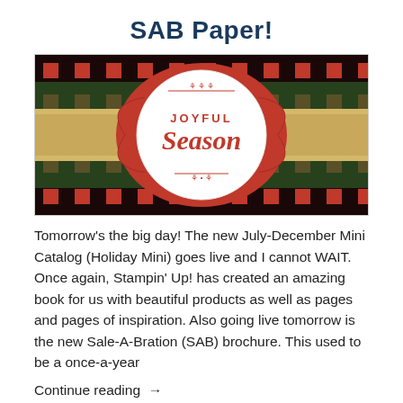SAB Paper!
[Figure (photo): Close-up photo of a Christmas card featuring a red snowflake/ornament die-cut with a white circle in the center stamped with 'Joyful Season' in red ink, layered over buffalo plaid red/black patterned paper and a burlap/lace ribbon strip.]
Tomorrow's the big day! The new July-December Mini Catalog (Holiday Mini) goes live and I cannot WAIT. Once again, Stampin' Up! has created an amazing book for us with beautiful products as well as pages and pages of inspiration. Also going live tomorrow is the new Sale-A-Bration (SAB) brochure. This used to be a once-a-year
Continue reading →